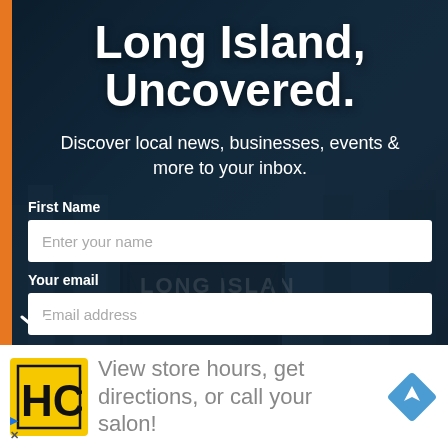Long Island, Uncovered.
Discover local news, businesses, events & more to your inbox.
First Name
Enter your name
Your email
Email address
[Figure (infographic): Advertisement banner with HC (Hair Club or similar) logo, text 'View store hours, get directions, or call your salon!' and a blue navigation diamond icon]
View store hours, get directions, or call your salon!